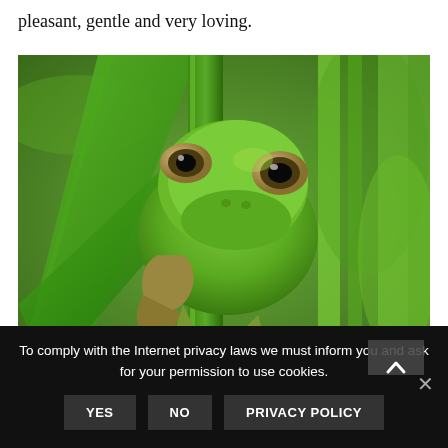pleasant, gentle and very loving.
[Figure (photo): Close-up photograph of a green tree frog clinging to a green plant stem or leaf, looking directly at the camera. The background is blurred green foliage.]
To comply with the Internet privacy laws we must inform you and ask for your permission to use cookies.
YES   NO   PRIVACY POLICY